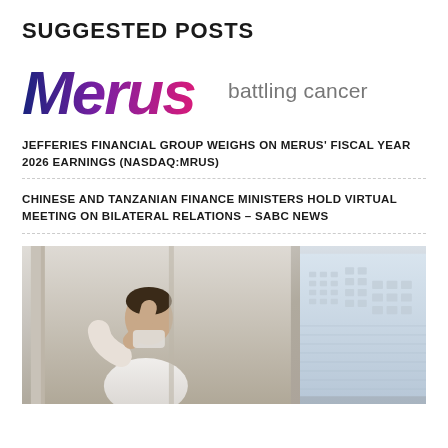SUGGESTED POSTS
[Figure (logo): Merus battling cancer logo — stylized italic bold purple-to-pink gradient text 'Merus' with tagline 'battling cancer' in gray]
JEFFERIES FINANCIAL GROUP WEIGHS ON MERUS' FISCAL YEAR 2026 EARNINGS (NASDAQ:MRUS)
CHINESE AND TANZANIAN FINANCE MINISTERS HOLD VIRTUAL MEETING ON BILATERAL RELATIONS – SABC NEWS
[Figure (photo): Man in white sleeveless shirt and face mask leaning against a window with blinds, viewed from behind/side, with city buildings visible outside the window]